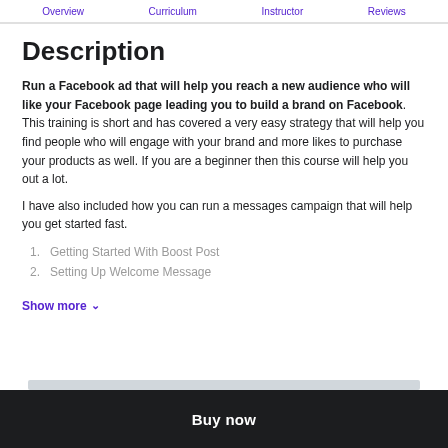Overview  Curriculum  Instructor  Reviews
Description
Run a Facebook ad that will help you reach a new audience who will like your Facebook page leading you to build a brand on Facebook. This training is short and has covered a very easy strategy that will help you find people who will engage with your brand and more likes to purchase your products as well. If you are a beginner then this course will help you out a lot.
I have also included how you can run a messages campaign that will help you get started fast.
1.  Getting Started With Boost Post
2.  Setting Up Welcome Message
Show more
Buy now